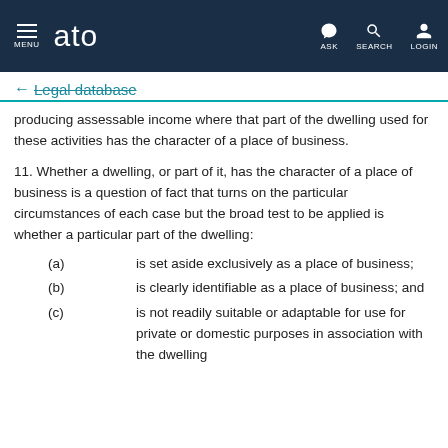ato — MENU | ASK | SEARCH | LOGIN
← Legal database
producing assessable income where that part of the dwelling used for these activities has the character of a place of business.
11. Whether a dwelling, or part of it, has the character of a place of business is a question of fact that turns on the particular circumstances of each case but the broad test to be applied is whether a particular part of the dwelling:
(a) is set aside exclusively as a place of business;
(b) is clearly identifiable as a place of business; and
(c) is not readily suitable or adaptable for use for private or domestic purposes in association with the dwelling